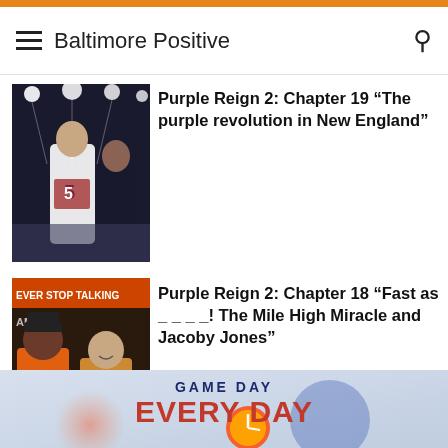Baltimore Positive
[Figure (photo): Football player celebrating on field at night with stadium lights]
Purple Reign 2: Chapter 19 “The purple revolution in New England”
[Figure (photo): Two men posing in front of radio studio sign reading EVER STOP TALKING AM]
Purple Reign 2: Chapter 18 “Fast as _ _ _ _! The Mile High Miracle and Jacoby Jones”
[Figure (infographic): Game Day Every Day promotional banner with Ravens logo and clock graphic]